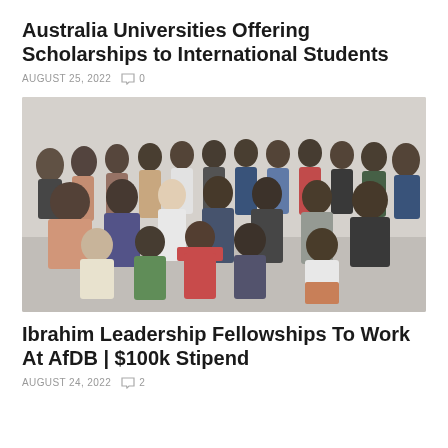Australia Universities Offering Scholarships to International Students
AUGUST 25, 2022   ○ 0
[Figure (photo): Group photo of approximately 25-30 young African professionals posing together indoors, some standing and some kneeling/sitting in front rows.]
Ibrahim Leadership Fellowships To Work At AfDB | $100k Stipend
AUGUST 24, 2022   ○ 2